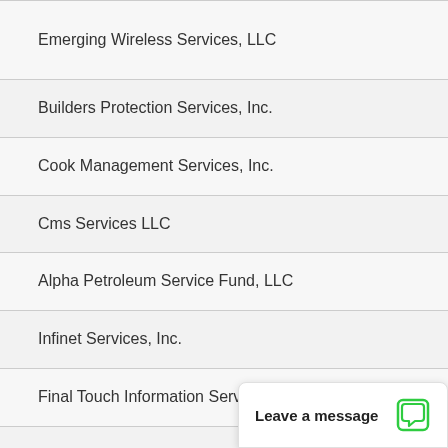Emerging Wireless Services, LLC
Builders Protection Services, Inc.
Cook Management Services, Inc.
Cms Services LLC
Alpha Petroleum Service Fund, LLC
Infinet Services, Inc.
Final Touch Information Services, LLC
P T Ortiz